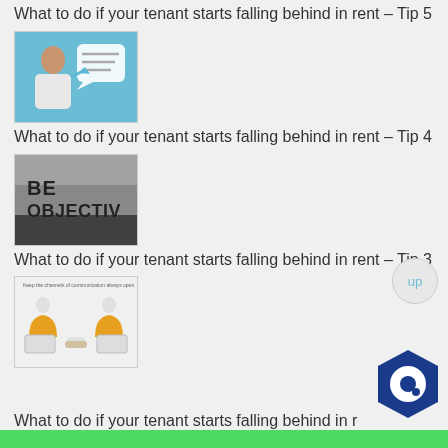What to do if your tenant starts falling behind in rent – Tip 5
[Figure (photo): Woman speaking with chat/document bubble graphic on blue background]
What to do if your tenant starts falling behind in rent – Tip 4
[Figure (photo): BE OBJECTIVE stencil text on dark background]
What to do if your tenant starts falling behind in rent – Tip 3
[Figure (photo): Two figures communicating across laptops, Keep the channels of communication always open]
What to do if your tenant starts falling behind in rent – Tip 2